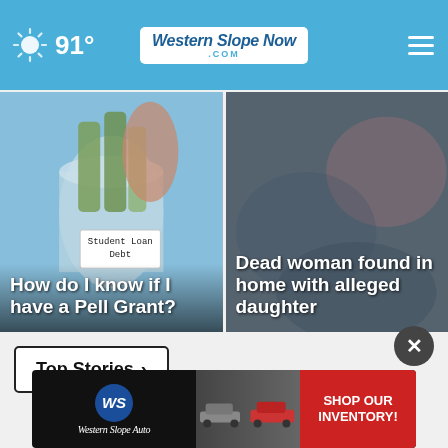91° — Western Slope Now .com
[Figure (photo): Glass jar holding rolled US dollar bills with a 'Student Loan Debt' label, hand holding it against blue background]
How do I know if I have a Pell Grant?
[Figure (photo): Blurred dark background image, associated with 'Dead woman found in home with alleged daughter' story]
Dead woman found in home with alleged daughter
Top Stories ›
[Figure (other): Western Slope Auto advertisement banner with cars and 'SHOP OUR INVENTORY!' call to action]